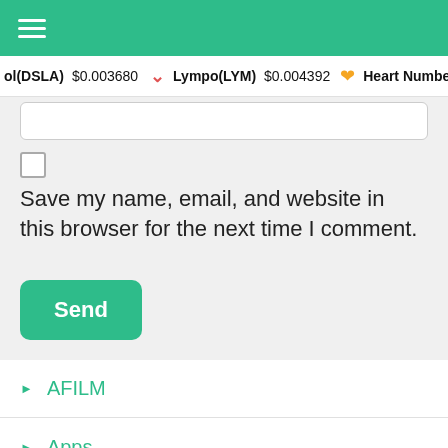Navigation hamburger menu on green bar
ol(DSLA)  $0.003680    Lympo(LYM)  $0.004392    Heart Number
Save my name, email, and website in this browser for the next time I comment.
Send
AFILM
Apps
Blockchain
BusinessAdvertising